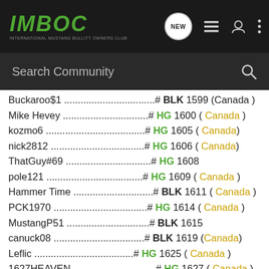[Figure (logo): IMBOC International Mustang Bullitt Owners Club logo in green italic text on dark background with navigation icons]
Search Community
Buckaroo$1 .............................# BLK 1599 (Canada )
Mike Hevey .............................# HG 1600 ( Canada )
kozmo6 .............................# HG 1605 ( Canada)
nick2812 .............................# HG 1606 ( Canada)
ThatGuy#69 .............................# HG 1608
pole121 .............................# HG 1609 ( Canada )
Hammer Time .............................# BLK 1611 ( Canada )
PCK1970 .............................# HG 1614 ( Canada )
MustangP51 .............................# BLK 1615
canuck08 .............................# BLK 1619 (Canada)
Leflic .............................# HG 1625 ( Canada )
1627HEAVEN .............................# HG 1627 ( Canada )
akoivula .............................# BLK 1629 ( Canada)
johnnybullitt .............................# HG 1632 ( Canada)
Maccaloon .............................# HG 1637 ( England )